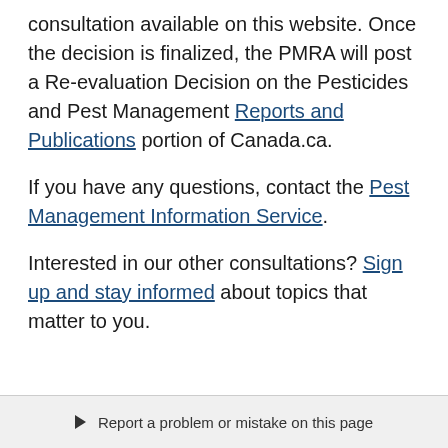consultation available on this website. Once the decision is finalized, the PMRA will post a Re-evaluation Decision on the Pesticides and Pest Management Reports and Publications portion of Canada.ca.
If you have any questions, contact the Pest Management Information Service.
Interested in our other consultations? Sign up and stay informed about topics that matter to you.
▶ Report a problem or mistake on this page